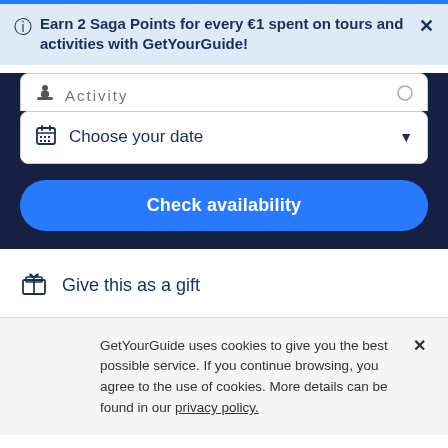Earn 2 Saga Points for every €1 spent on tours and activities with GetYourGuide!
Activity
Choose your date
Check availability
Give this as a gift
GetYourGuide uses cookies to give you the best possible service. If you continue browsing, you agree to the use of cookies. More details can be found in our privacy policy.